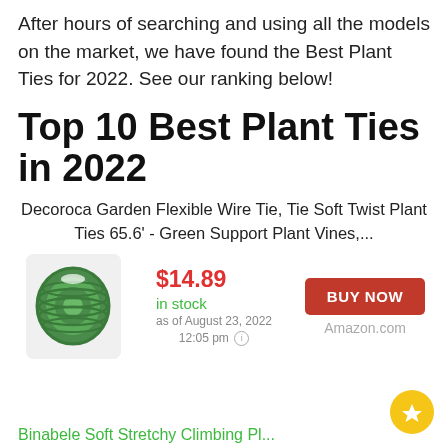After hours of searching and using all the models on the market, we have found the Best Plant Ties for 2022. See our ranking below!
Top 10 Best Plant Ties in 2022
Decoroca Garden Flexible Wire Tie, Tie Soft Twist Plant Ties 65.6' - Green Support Plant Vines,...
[Figure (photo): Green coiled plant wire tie on white background]
$14.89 in stock as of August 23, 2022 12:05 pm
BUY NOW Amazon.com
Binabele Soft Stretchy Climbing Pl...